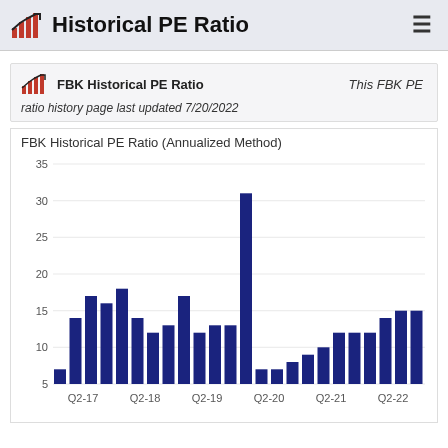Historical PE Ratio
FBK Historical PE Ratio   This FBK PE
ratio history page last updated 7/20/2022
[Figure (bar-chart): FBK Historical PE Ratio (Annualized Method)]